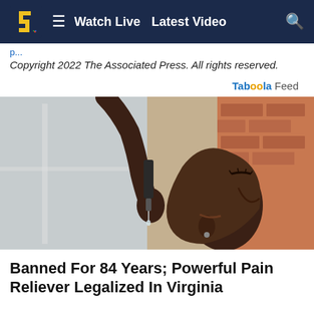[Figure (screenshot): NBC5 navigation bar with logo, hamburger menu, Watch Live, Latest Video links, and search icon on dark navy background]
Copyright 2022 The Associated Press. All rights reserved.
Taboola Feed
[Figure (photo): A woman tilting her head back and using a dropper to place drops under her tongue, presumably CBD or similar oil drops. Background shows blurred window and brick wall.]
Banned For 84 Years; Powerful Pain Reliever Legalized In Virginia